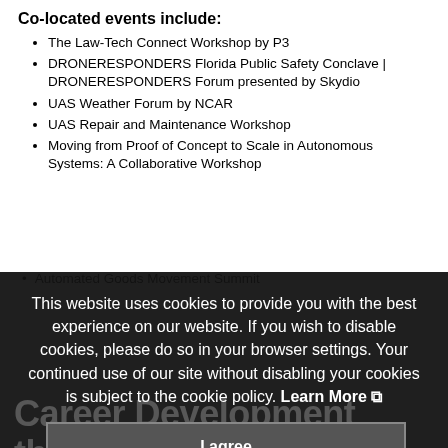Co-located events include:
The Law-Tech Connect Workshop by P3
DRONERESPONDERS Florida Public Safety Conclave | DRONERESPONDERS Forum presented by Skydio
UAS Weather Forum by NCAR
UAS Repair and Maintenance Workshop
Moving from Proof of Concept to Scale in Autonomous Systems: A Collaborative Workshop
Automated Goods Movement Summit
This website uses cookies to provide you with the best experience on our website. If you wish to disable cookies, please do so in your browser settings. Your continued use of our site without disabling your cookies is subject to the cookie policy. Learn More
I agree
Career Development through STEM
K–12 programming is developed by AUVSI in coordination with several industry partners to further encourage interest in Science, Technology, Engineering, and Mathematics for the participants of the AUVSI. School National Robotics a MultiGP STEM Alliance Event being held on Wednesday April 27 and Thursday April 28.